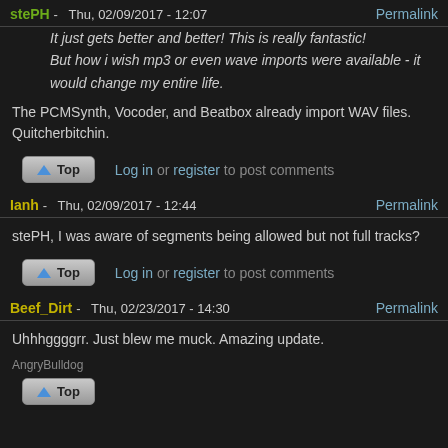stePH - Thu, 02/09/2017 - 12:07   Permalink
It just gets better and better! This is really fantastic! But how i wish mp3 or even wave imports were available - it would change my entire life.
The PCMSynth, Vocoder, and Beatbox already import WAV files. Quitcherbitchin.
Top   Log in or register to post comments
Ianh - Thu, 02/09/2017 - 12:44   Permalink
stePH, I was aware of segments being allowed but not full tracks?
Top   Log in or register to post comments
Beef_Dirt - Thu, 02/23/2017 - 14:30   Permalink
Uhhhggggrr. Just blew me muck. Amazing update.
AngryBulldog